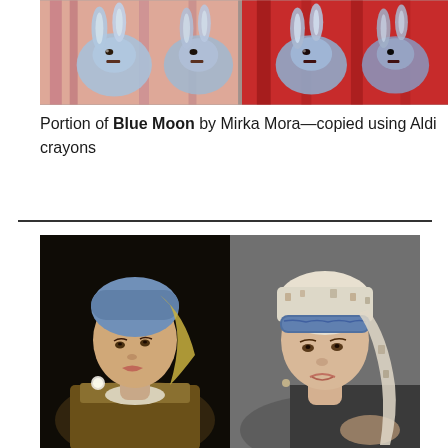[Figure (photo): Two side-by-side images showing a portion of the painting Blue Moon by Mirka Mora — colorful rabbit-like figures in pink/red tones, one original and one copy made with Aldi crayons]
Portion of Blue Moon by Mirka Mora—copied using Aldi crayons
[Figure (photo): Side-by-side comparison: left side shows Vermeer's Girl with a Pearl Earring painting, right side shows a photo recreation of the same pose by a real person wearing a blue headband and white patterned scarf]